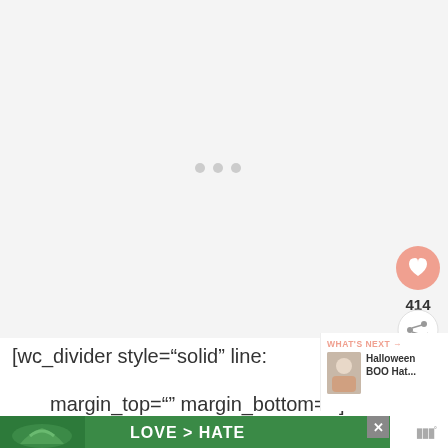[Figure (screenshot): Large light gray content area with three small gray dots/loading indicators centered in the middle, and social action buttons (heart/like button in peach/salmon color, count of 414, and a share button) on the right side]
[wc_divider style="solid" line:
[Figure (screenshot): WHAT'S NEXT panel showing Halloween BOO Hat... with a thumbnail image]
margin_top="" margin_bottom=""]
[Figure (photo): Advertisement banner showing hands making a heart shape with text LOVE > HATE on green background, with a close X button]